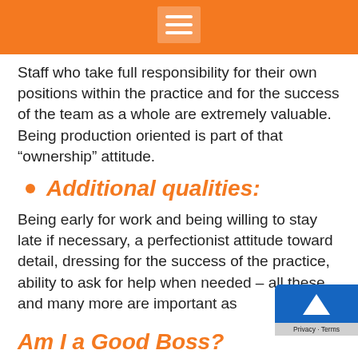[Figure (other): Orange header bar with hamburger menu icon (three white horizontal lines) centered on the bar]
Staff who take full responsibility for their own positions within the practice and for the success of the team as a whole are extremely valuable.  Being production oriented is part of that “ownership” attitude.
Additional qualities:
Being early for work and being willing to stay late if necessary, a perfectionist attitude toward detail, dressing for the success of the practice, ability to ask for help when needed – all these and many more are important as
Am I a Good Boss?